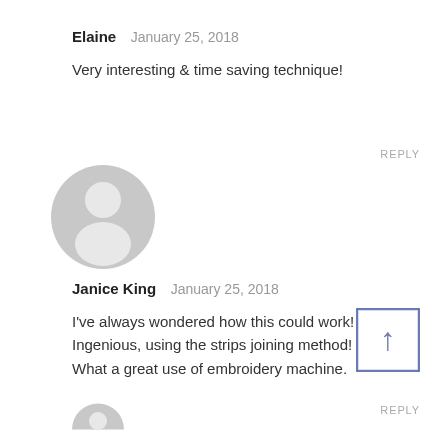Elaine  January 25, 2018
Very interesting & time saving technique!
REPLY
[Figure (illustration): Generic user avatar icon (grey circle with person silhouette)]
Janice King  January 25, 2018
I've always wondered how this could work! Ingenious, using the strips joining method! What a great use of embroidery machine.
[Figure (illustration): Scroll-to-top button: square with upward arrow in blue/indigo outline]
REPLY
[Figure (illustration): Generic user avatar icon (grey circle with person silhouette), partially visible at bottom]